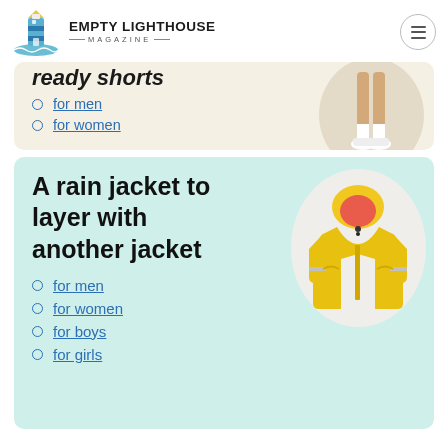EMPTY LIGHTHOUSE MAGAZINE
ready shorts
for men
for women
[Figure (photo): Person's legs in white sneakers on a beige oval background]
A rain jacket to layer with another jacket
for men
for women
for boys
for girls
[Figure (photo): Yellow children's rain jacket on an off-white oval background]